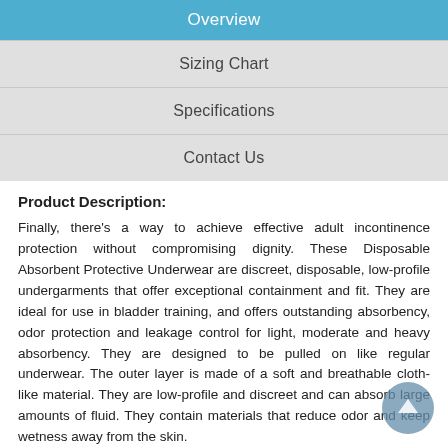Overview
Sizing Chart
Specifications
Contact Us
Product Description:
Finally, there’s a way to achieve effective adult incontinence protection without compromising dignity. These Disposable Absorbent Protective Underwear are discreet, disposable, low-profile undergarments that offer exceptional containment and fit. They are ideal for use in bladder training, and offers outstanding absorbency, odor protection and leakage control for light, moderate and heavy absorbency. They are designed to be pulled on like regular underwear. The outer layer is made of a soft and breathable cloth-like material. They are low-profile and discreet and can absorb large amounts of fluid. They contain materials that reduce odor and keep wetness away from the skin.